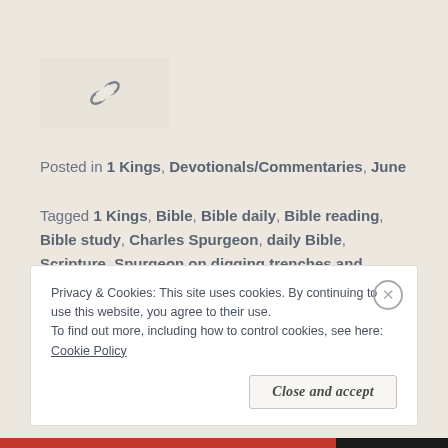[Figure (illustration): Chain link icon on a light beige square background]
Posted in 1 Kings, Devotionals/Commentaries, June
Tagged 1 Kings, Bible, Bible daily, Bible reading, Bible study, Charles Spurgeon, daily Bible, Scripture, Spurgeon on digging trenches and expecting divine blessings
Privacy & Cookies: This site uses cookies. By continuing to use this website, you agree to their use.
To find out more, including how to control cookies, see here: Cookie Policy
Close and accept